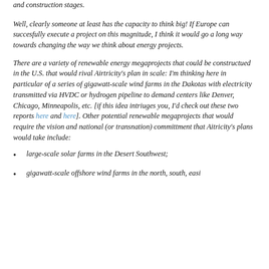and construction stages.
Well, clearly someone at least has the capacity to think big! If Europe can succesfully execute a project on this magnitude, I think it would go a long way towards changing the way we think about energy projects.
There are a variety of renewable energy megaprojects that could be constructued in the U.S. that would rival Airtricity's plan in scale: I'm thinking here in particular of a series of gigawatt-scale wind farms in the Dakotas with electricity transmitted via HVDC or hydrogen pipeline to demand centers like Denver, Chicago, Minneapolis, etc. [if this idea intriuges you, I'd check out these two reports here and here]. Other potential renewable megaprojects that would require the vision and national (or transnation) committment that Aitricity's plans would take include:
large-scale solar farms in the Desert Southwest;
gigawatt-scale offshore wind farms in the north, south, easi